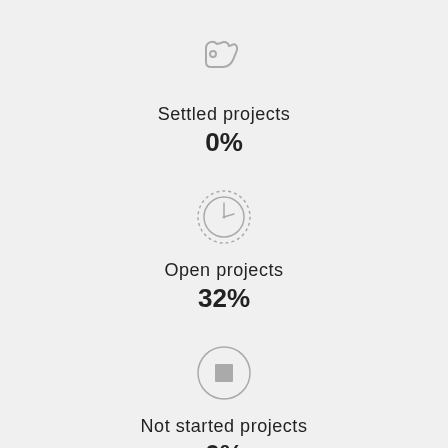[Figure (illustration): Grey hand/tag icon representing settled projects]
Settled projects
0%
[Figure (illustration): Grey clock/timer icon with dotted border representing open projects]
Open projects
32%
[Figure (illustration): Grey circle with square inside representing not started projects]
Not started projects
0%
[Figure (illustration): Grey circle with X inside at bottom of page]